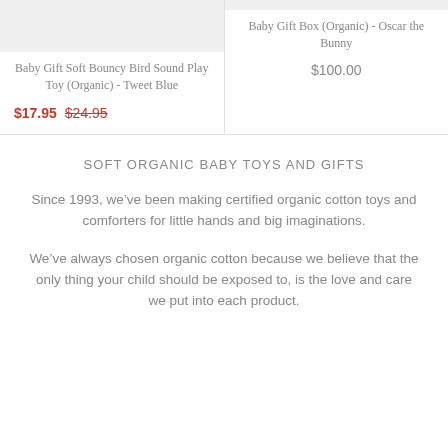[Figure (photo): Gray placeholder image for Baby Gift Soft Bouncy Bird Sound Play Toy (Organic) - Tweet Blue]
Baby Gift Soft Bouncy Bird Sound Play Toy (Organic) - Tweet Blue
$17.95  $24.95
[Figure (photo): Gray placeholder image for Baby Gift Box (Organic) - Oscar the Bunny]
Baby Gift Box (Organic) - Oscar the Bunny
$100.00
SOFT ORGANIC BABY TOYS AND GIFTS
Since 1993, we’ve been making certified organic cotton toys and comforters for little hands and big imaginations.
We’ve always chosen organic cotton because we believe that the only thing your child should be exposed to, is the love and care we put into each product.